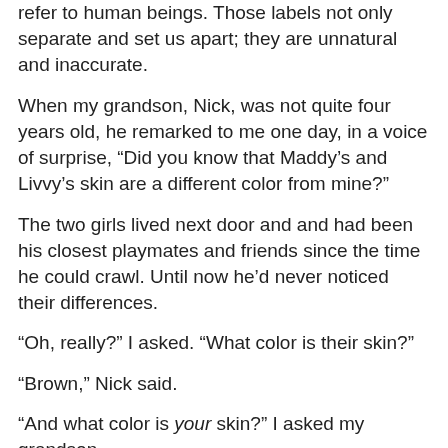refer to human beings. Those labels not only separate and set us apart; they are unnatural and inaccurate.
When my grandson, Nick, was not quite four years old, he remarked to me one day, in a voice of surprise, “Did you know that Maddy’s and Livvy’s skin are a different color from mine?”
The two girls lived next door and and had been his closest playmates and friends since the time he could crawl. Until now he’d never noticed their differences.
“Oh, really?” I asked. “What color is their skin?”
“Brown,” Nick said.
“And what color is your skin?” I asked my grandson.
He held his arm in front of his face, turned it over, looked carefully at it from all angles, then said, “My skin is light tan.”
Yep.